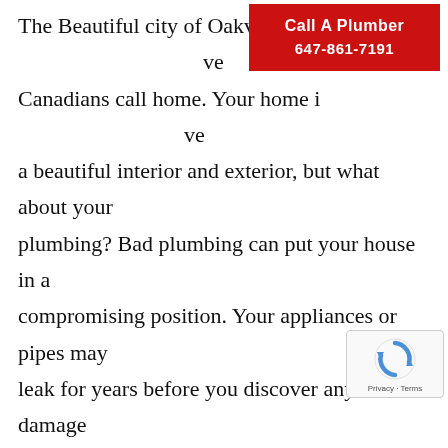The Beautiful city of Oakville is where many Canadians call home. Your home is more than just a beautiful interior and exterior, but what about your plumbing? Bad plumbing can put your house in a compromising position. Your appliances or pipes may leak for years before you discover any of the damage or signs. By then, it might be too late to save some things. Slow leaks in homes can really cause just as much if not more than burst pipes. If you are thinking to yourself, “hmm that tap in the kitchen….” or can’t even remember the last time you had your pipes checked, or if you already have an issue with the plumbing in your house Rooter Team Oakville can help you. Fill out a form or call us for your free estimate, we
[Figure (other): Red call-to-action box reading 'Call A Plumber' and phone number '647-861-7191' in white bold text on red background]
[Figure (other): Google reCAPTCHA widget showing the reCAPTCHA logo (circular arrows) and 'Privacy - Terms' text]